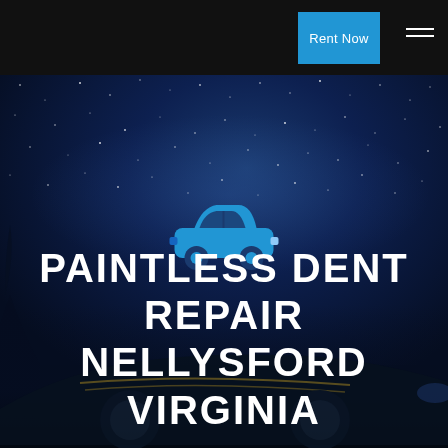Rent Now
[Figure (illustration): Night sky background with stars and milky way, a dark blue-toned hero image with a silhouetted muscle car at the bottom and a blue car icon centered above the title text]
PAINTLESS DENT REPAIR NELLYSFORD VIRGINIA